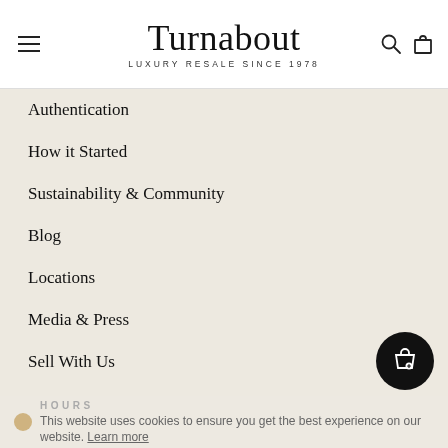Turnabout — LUXURY RESALE SINCE 1978
Authentication
How it Started
Sustainability & Community
Blog
Locations
Media & Press
Sell With Us
Careers
HOURS
This website uses cookies to ensure you get the best experience on our website. Learn more